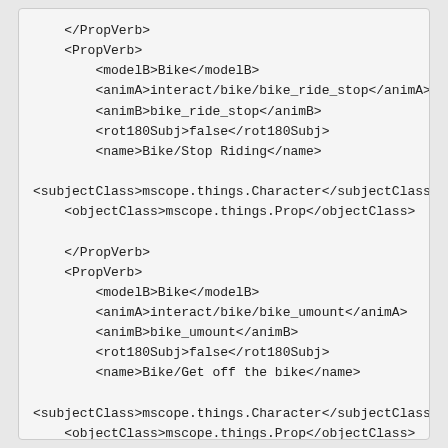</PropVerb>
    <PropVerb>
        <modelB>Bike</modelB>
        <animA>interact/bike/bike_ride_stop</animA>
        <animB>bike_ride_stop</animB>
        <rot180Subj>false</rot180Subj>
        <name>Bike/Stop Riding</name>

<subjectClass>mscope.things.Character</subjectClass>
    <objectClass>mscope.things.Prop</objectClass>

    </PropVerb>
    <PropVerb>
        <modelB>Bike</modelB>
        <animA>interact/bike/bike_umount</animA>
        <animB>bike_umount</animB>
        <rot180Subj>false</rot180Subj>
        <name>Bike/Get off the bike</name>

<subjectClass>mscope.things.Character</subjectClass>
    <objectClass>mscope.things.Prop</objectClass>